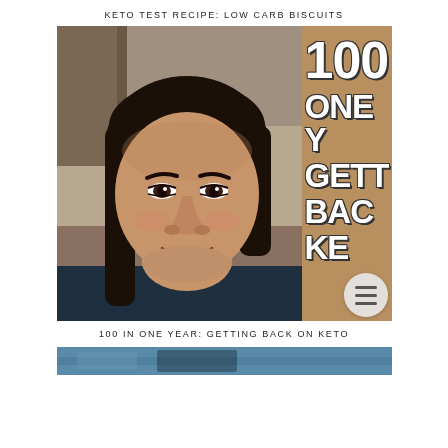KETO TEST RECIPE: LOW CARB BISCUITS
[Figure (photo): A smiling woman with long dark hair. On the right side of the image, large bold text partially visible reads: 100 / ONE Y[EAR] / GET[TING] / BAC[K ON] / KE[TO]. The right portion has a warm brown/golden background with white outlined text overlay.]
100 IN ONE YEAR: GETTING BACK ON KETO
[Figure (photo): Bottom partial image strip showing the top edge of another photo, appears to be a blue/teal toned food or lifestyle image.]